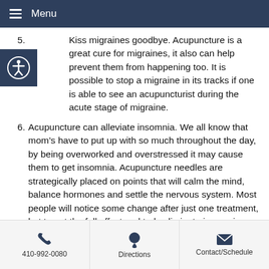Menu
5. Kiss migraines goodbye. Acupuncture is a great cure for migraines, it also can help prevent them from happening too. It is possible to stop a migraine in its tracks if one is able to see an acupuncturist during the acute stage of migraine.
6. Acupuncture can alleviate insomnia. We all know that mom’s have to put up with so much throughout the day, by being overworked and overstressed it may cause them to get insomnia. Acupuncture needles are strategically placed on points that will calm the mind, balance hormones and settle the nervous system. Most people will notice some change after just one treatment, but to get the full effect and truly eliminate insomnia, you should commit to several treatments.
410-992-0080 | Directions | Contact/Schedule